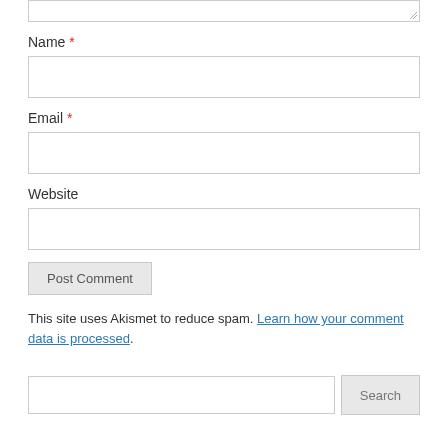[Figure (screenshot): Top portion of a textarea input field (partially visible at top of page), with resize handle at bottom-right corner]
Name *
[Figure (screenshot): Name input field, empty text box]
Email *
[Figure (screenshot): Email input field, empty text box]
Website
[Figure (screenshot): Website input field, empty text box]
[Figure (screenshot): Post Comment button, grey rounded rectangle]
This site uses Akismet to reduce spam. Learn how your comment data is processed.
[Figure (screenshot): Search bar with text input and Search button]